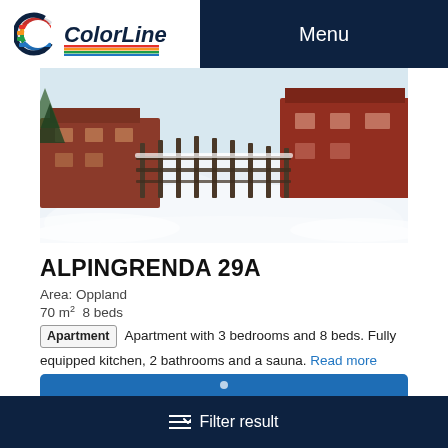Color Line — Menu
[Figure (photo): Winter scene showing a snow-covered landscape with wooden fence posts and a red building in the background]
ALPINGRENDA 29A
Area: Oppland
70 m² 8 beds
Apartment — Apartment with 3 bedrooms and 8 beds. Fully equipped kitchen, 2 bathrooms and a sauna. Read more
Dishwasher
TV
Sauna
Filter result